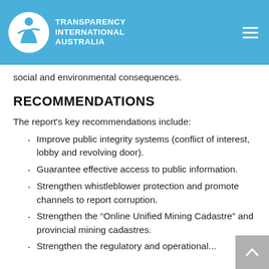Transparency International Australia
if these processes are not transparent and accountable, they are more vulnerable to corruption. This in turn threatens further economic, social and environmental consequences.
RECOMMENDATIONS
The report's key recommendations include:
Improve public integrity systems (conflict of interest, lobby and revolving door).
Guarantee effective access to public information.
Strengthen whistleblower protection and promote channels to report corruption.
Strengthen the “Online Unified Mining Cadastre” and provincial mining cadastres.
Strengthen the regulatory and operational...